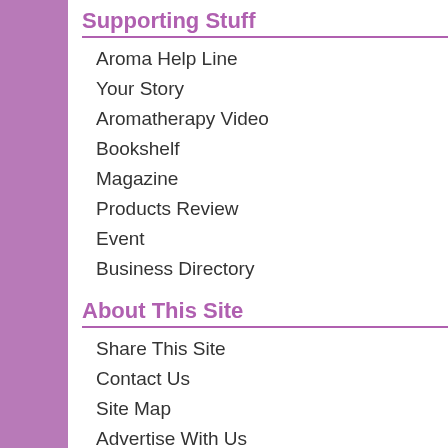Supporting Stuff
Aroma Help Line
Your Story
Aromatherapy Video
Bookshelf
Magazine
Products Review
Event
Business Directory
About This Site
Share This Site
Contact Us
Site Map
Advertise With Us
Subscribe To This Site
“We first investigated this beca... experiment,” says Diane Horne... University in Ogden, UT. “We n... exposed to certain aromatic spr...
The best results occurred with c... inhibition of the pathogens was... Horne said at a poster presenta... the oils also showed efficacy ag...
Although the research is still at a... aromatherapy with the three oils... controlling pneumonia infections...
Some treatment using es...
Lemon and eucalyptus oils are e... and pneumonia infections. A 2-p...
Steam treatment carries essenti... provides warm, moist air to help,...
To do a steam, boil a pan of wat... drops of essential oils to the wa... your head as you breathe deepl...
Recovery from pneumonia may...